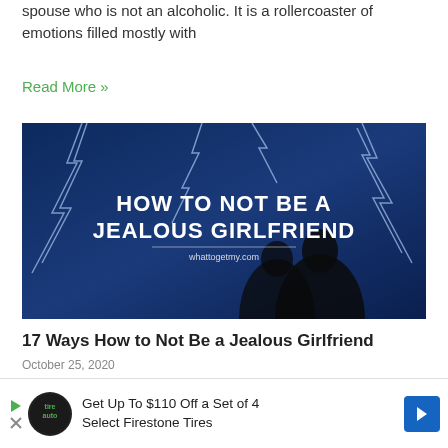spouse who is not an alcoholic. It is a rollercoaster of emotions filled mostly with
Read More »
[Figure (photo): Dark blue dramatic lightning background with silhouettes of a couple. Bold white text reads 'HOW TO NOT BE A JEALOUS GIRLFRIEND' with 'whattogetmy.com' below.]
17 Ways How to Not Be a Jealous Girlfriend
October 25, 2020
17 W… What…
Get Up To $110 Off a Set of 4 Select Firestone Tires